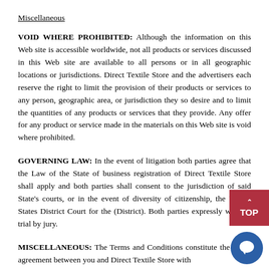Miscellaneous
VOID WHERE PROHIBITED: Although the information on this Web site is accessible worldwide, not all products or services discussed in this Web site are available to all persons or in all geographic locations or jurisdictions. Direct Textile Store and the advertisers each reserve the right to limit the provision of their products or services to any person, geographic area, or jurisdiction they so desire and to limit the quantities of any products or services that they provide. Any offer for any product or service made in the materials on this Web site is void where prohibited.
GOVERNING LAW: In the event of litigation both parties agree that the Law of the State of business registration of Direct Textile Store shall apply and both parties shall consent to the jurisdiction of said State's courts, or in the event of diversity of citizenship, the United States District Court for the (District). Both parties expressly waive a trial by jury.
MISCELLANEOUS: The Terms and Conditions constitute the entire agreement between you and Direct Textile Store with respect to this Web site. The Terms and Conditions supersede all